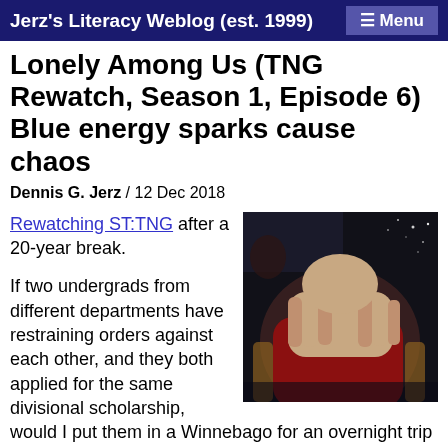Jerz's Literacy Weblog (est. 1999)  ≡ Menu
Lonely Among Us (TNG Rewatch, Season 1, Episode 6) Blue energy sparks cause chaos
Dennis G. Jerz / 12 Dec 2018
[Figure (photo): Photo of Captain Picard facepalm meme, man in red uniform covering face with both hands, dark background with stars]
Rewatching ST:TNG after a 20-year break.

If two undergrads from different departments have restraining orders against each other, and they both applied for the same divisional scholarship, would I put them in a Winnebago for an overnight trip to a neutral location in order to decide who gets the money? I guess I would, if I were a character in a fledgling TV series trying out a mystery trope.

One of my favorite moments of classic Trek is a moral